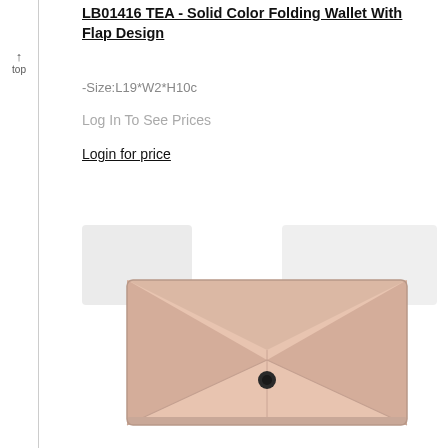LB01416 TEA - Solid Color Folding Wallet With Flap Design
-Size:L19*W2*H10c
Log In To See Prices
Login for price
[Figure (photo): Pink/beige envelope-style folding wallet with flap design and a single snap button closure, shown at an angle on white background]